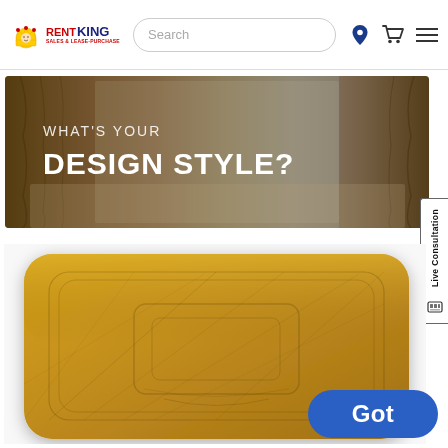Rent King - Sales & Lease-Purchase header with search bar, location icon, cart icon, and menu icon
[Figure (illustration): Promotional banner with room background showing curtains and decor. Text overlay reads 'WHAT'S YOUR DESIGN STYLE?' in white uppercase letters.]
[Figure (photo): Close-up product image of a golden/mustard yellow decorative throw pillow with embossed geometric line pattern.]
Got